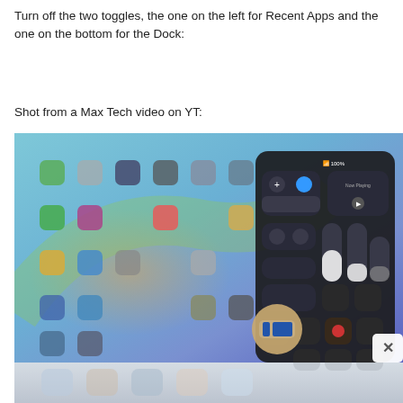Turn off the two toggles, the one on the left for Recent Apps and the one on the bottom for the Dock:
Shot from a Max Tech video on YT:
[Figure (screenshot): iPad screenshot showing the home screen with app icons and an open Control Center panel on the right side, with a highlighted multitasking/dock button at the bottom and an X close button in the corner. Below the screenshot is a partial view of the dock area.]